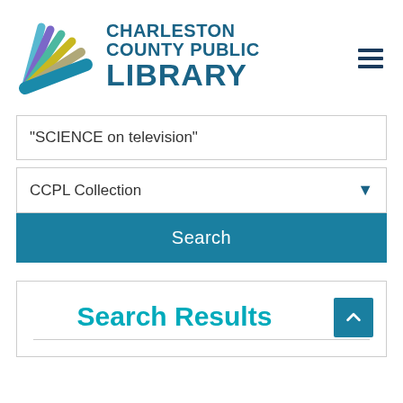[Figure (logo): Charleston County Public Library logo with colorful fan/book pages graphic and teal text]
"SCIENCE on television"
CCPL Collection
Search
Search Results